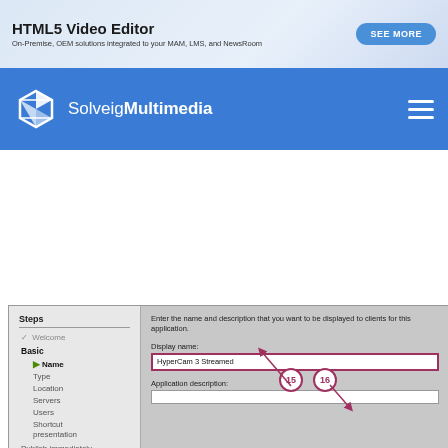[Figure (screenshot): Top advertisement banner for HTML5 Video Editor with 'SEE MORE' button]
[Figure (screenshot): SolveigMultimedia navigation bar with logo and hamburger menu]
[Figure (screenshot): Windows wizard dialog showing Steps panel on left with Welcome, Basic, Name, Type, Location, Servers, Users, Shortcut presentation, Publish immediately. Right panel shows 'Enter the name and description...' instruction, Display name field with 'HyperCam 3 Streamed', Application description field. Callout 15 points to Name input, callout 16 points to Next button.]